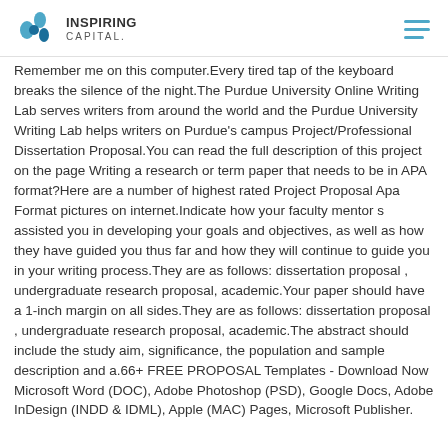Inspiring Capital. [logo + hamburger menu]
Remember me on this computer.Every tired tap of the keyboard breaks the silence of the night.The Purdue University Online Writing Lab serves writers from around the world and the Purdue University Writing Lab helps writers on Purdue's campus Project/Professional Dissertation Proposal.You can read the full description of this project on the page Writing a research or term paper that needs to be in APA format?Here are a number of highest rated Project Proposal Apa Format pictures on internet.Indicate how your faculty mentor s assisted you in developing your goals and objectives, as well as how they have guided you thus far and how they will continue to guide you in your writing process.They are as follows: dissertation proposal , undergraduate research proposal, academic.Your paper should have a 1-inch margin on all sides.They are as follows: dissertation proposal , undergraduate research proposal, academic.The abstract should include the study aim, significance, the population and sample description and a.66+ FREE PROPOSAL Templates - Download Now Microsoft Word (DOC), Adobe Photoshop (PSD), Google Docs, Adobe InDesign (INDD & IDML), Apple (MAC) Pages, Microsoft Publisher.